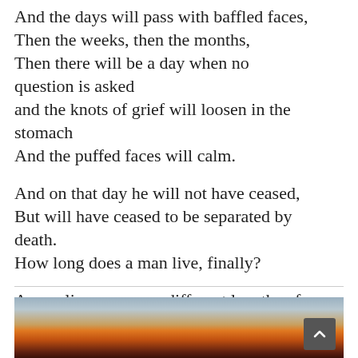And the days will pass with baffled faces,
Then the weeks, then the months,
Then there will be a day when no question is asked
and the knots of grief will loosen in the stomach
And the puffed faces will calm.

And on that day he will not have ceased,
But will have ceased to be separated by death.
How long does a man live, finally?

A man lives so many different lengths of time.
[Figure (photo): A blurred sunset or sunrise photograph showing a warm orange and amber gradient of light along the horizon, with a dark silhouette at the bottom and a light grey-blue sky above.]